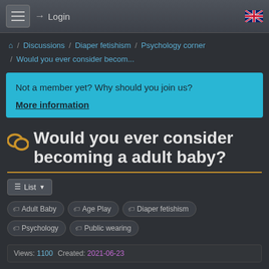Login
🏠 / Discussions / Diaper fetishism / Psychology corner / Would you ever consider becom...
Not a member yet? Why should you join us?
More information
Would you ever consider becoming a adult baby?
List
Adult Baby
Age Play
Diaper fetishism
Psychology
Public wearing
Views: 1100   Created: 2021-06-23